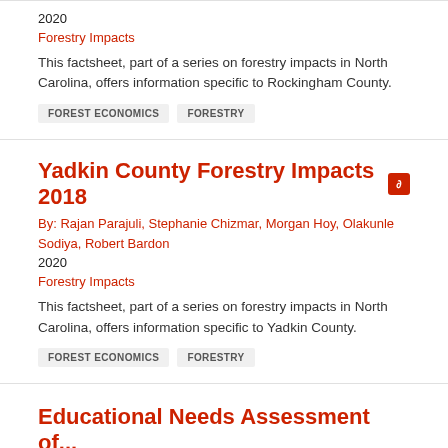2020
Forestry Impacts
This factsheet, part of a series on forestry impacts in North Carolina, offers information specific to Rockingham County.
FOREST ECONOMICS
FORESTRY
Yadkin County Forestry Impacts 2018
By: Rajan Parajuli, Stephanie Chizmar, Morgan Hoy, Olakunle Sodiya, Robert Bardon
2020
Forestry Impacts
This factsheet, part of a series on forestry impacts in North Carolina, offers information specific to Yadkin County.
FOREST ECONOMICS
FORESTRY
Educational Needs Assessment of...